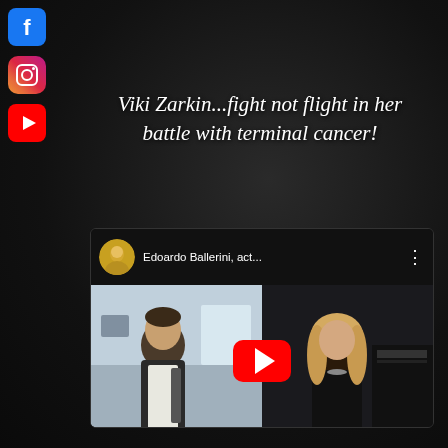[Figure (logo): Facebook logo icon - blue square with white 'f']
[Figure (logo): Instagram logo icon - gradient square with camera icon]
[Figure (logo): YouTube logo icon - red square with white play button]
Viki Zarkin...fight not flight in her battle with terminal cancer!
[Figure (screenshot): YouTube video thumbnail showing 'Edoardo Ballerini, act...' with a man on the left and a blonde woman on the right, red YouTube play button in center, circular avatar of a blonde woman in the video header]